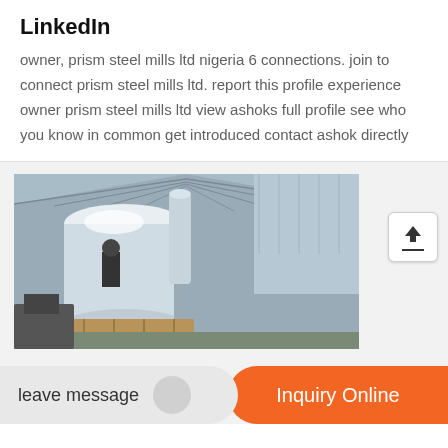LinkedIn
owner, prism steel mills ltd nigeria 6 connections. join to connect prism steel mills ltd. report this profile experience owner prism steel mills ltd view ashoks full profile see who you know in common get introduced contact ashok directly
[Figure (photo): Industrial factory interior showing large metal tanks or vessels inside a steel-roofed warehouse building]
leave message
Inquiry Online